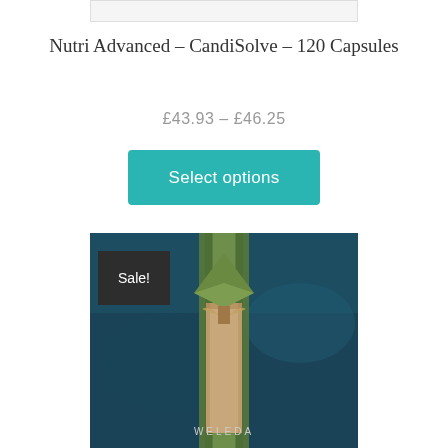[Figure (other): Top partial image bar placeholder at top of page]
Nutri Advanced – CandiSolve – 120 Capsules
£43.93 – £46.25
Select options
[Figure (photo): Photo of a Weleda product with green and kraft paper packaging tied with a ribbon, displayed against a dark teal background. A dark grey 'Sale!' badge is in the upper left corner.]